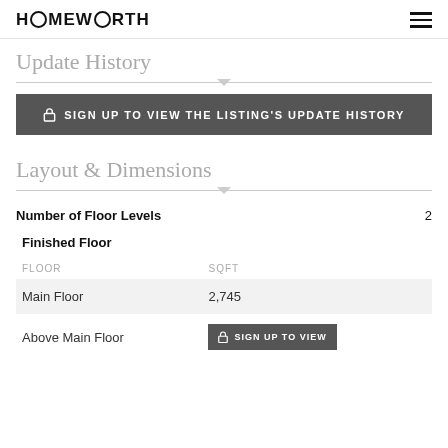HOMEWORTH
Update History
SIGN UP TO VIEW THE LISTING'S UPDATE HISTORY
Layout & Dimensions
Number of Floor Levels   2
Finished Floor
| FLOOR | SQFT |
| --- | --- |
| Main Floor | 2,745 |
| Above Main Floor | SIGN UP TO VIEW |